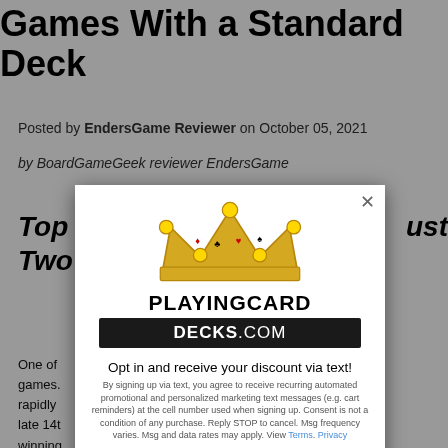The Best Two-Player Card Games With a Standard Deck
Posted by EndersGame Reviewer on October 05, 2021
by BoardGameGeek reviewer EndersGame
Top ... just Two
One of ... card games. ... spread rapidly ... in the late 14t... a winning ... since then, w... cards,
[Figure (logo): PlayingCardDecks.com popup modal with crown logo, opt-in discount offer for 10% off via text message signup]